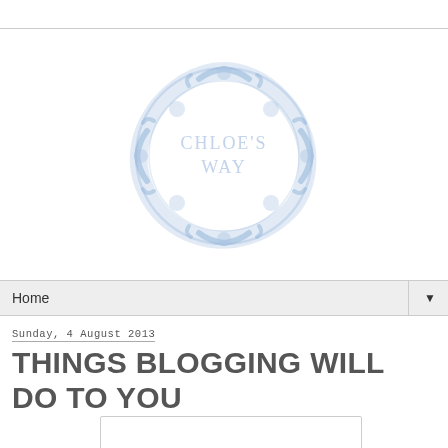[Figure (logo): Chloe's Way blog logo: decorative circular blue watercolor floral/scroll wreath border with text 'CHLOE'S WAY' in light blue inside]
Home ▼
Sunday, 4 August 2013
THINGS BLOGGING WILL DO TO YOU
[Figure (photo): Partially visible image at bottom of page]